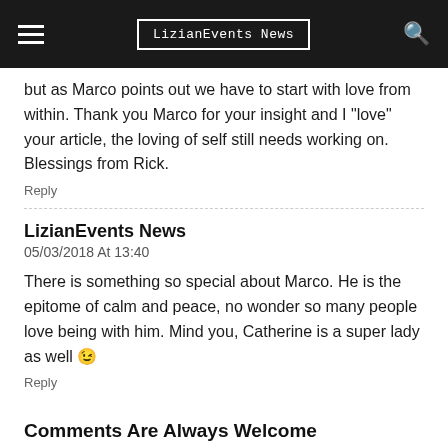LizianEvents News
but as Marco points out we have to start with love from within. Thank you Marco for your insight and I "love" your article, the loving of self still needs working on. Blessings from Rick.
Reply
LizianEvents News
05/03/2018 At 13:40
There is something so special about Marco. He is the epitome of calm and peace, no wonder so many people love being with him. Mind you, Catherine is a super lady as well 😉
Reply
Comments Are Always Welcome